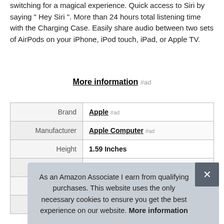switching for a magical experience. Quick access to Siri by saying " Hey Siri ". More than 24 hours total listening time with the Charging Case. Easily share audio between two sets of AirPods on your iPhone, iPod touch, iPad, or Apple TV.
More information #ad
|  |  |
| --- | --- |
| Brand | Apple #ad |
| Manufacturer | Apple Computer #ad |
| Height | 1.59 Inches |
| Length | 0.65 Inches |
| P |  |
| Model | MY7N2AM/A |
As an Amazon Associate I earn from qualifying purchases. This website uses the only necessary cookies to ensure you get the best experience on our website. More information